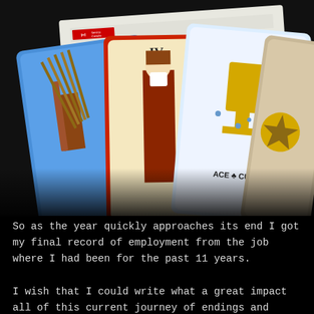[Figure (photo): A photograph showing several tarot cards (including one labeled 'ACE of CUPS' and another showing 'IV') fanned out on top of a Service Canada Record of Employment (ROE) form. The background is dark/black.]
So as the year quickly approaches its end I got my final record of employment from the job where I had been for the past 11 years.

I wish that I could write what a great impact all of this current journey of endings and beginnings had on me but to tell her the